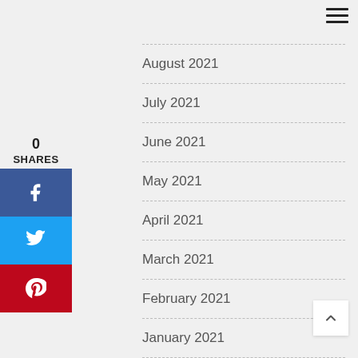[Figure (other): Hamburger menu icon (three horizontal lines) in top-right corner]
0
SHARES
[Figure (other): Facebook share button (blue with f icon)]
[Figure (other): Twitter share button (blue with bird icon)]
[Figure (other): Pinterest share button (red with P icon)]
August 2021
July 2021
June 2021
May 2021
April 2021
March 2021
February 2021
January 2021
December 2020
[Figure (other): Back to top chevron button (white box with up arrow) in bottom-right]